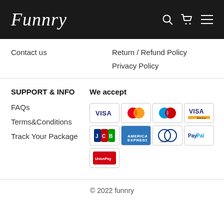Funnry
Contact us
Return / Refund Policy
Privacy Policy
SUPPORT & INFO
We accept
FAQs
Terms&Conditions
Track Your Package
[Figure (other): Payment method icons: VISA, Mastercard, Maestro, VISA Electron, JCB, American Express, Diners Club, PayPal, UnionPay]
© 2022 funnry